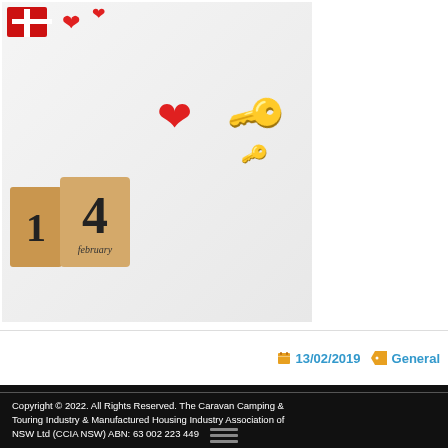[Figure (photo): Valentine's Day themed photo showing wooden calendar blocks displaying '14 february', red heart shapes, a red gift box with white ribbon, and decorative silver keys on a white background]
13/02/2019
General
Copyright © 2022. All Rights Reserved. The Caravan Camping & Touring Industry & Manufactured Housing Industry Association of NSW Ltd (CCIA NSW) ABN: 63 002 223 449